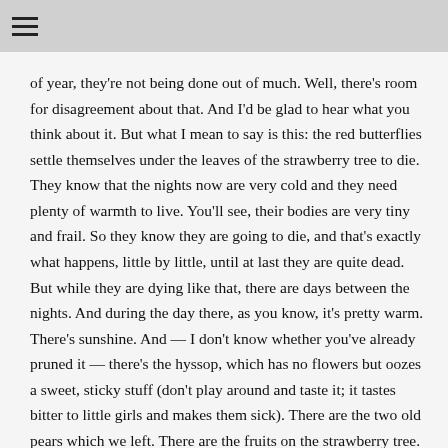of year, they're not being done out of much. Well, there's room for disagreement about that. And I'd be glad to hear what you think about it. But what I mean to say is this: the red butterflies settle themselves under the leaves of the strawberry tree to die. They know that the nights now are very cold and they need plenty of warmth to live. You'll see, their bodies are very tiny and frail. So they know they are going to die, and that's exactly what happens, little by little, until at last they are quite dead. But while they are dying like that, there are days between the nights. And during the day there, as you know, it's pretty warm. There's sunshine. And — I don't know whether you've already pruned it — there's the hyssop, which has no flowers but oozes a sweet, sticky stuff (don't play around and taste it; it tastes bitter to little girls and makes them sick). There are the two old pears which we left. There are the fruits on the strawberry tree. And then, as you know, there's the warmth. When you are warm, it does you good, and it's the same for